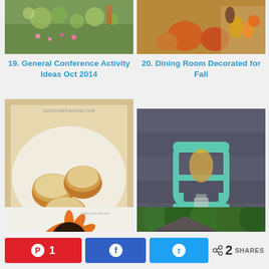[Figure (photo): Partially visible photo of flowers/garden with person in background - item 19]
[Figure (photo): Partially visible photo of fall decorations with pumpkins and gourds - item 20]
19. General Conference Activity Ideas Oct 2014
20. Dining Room Decorated for Fall
[Figure (photo): Photo of cranberry pumpkin cookies with burnt butter icing on a white plate - item 22]
[Figure (photo): Photo of a mint colored chair with gold wax against rustic wood background - item 23]
22. Cranberry Pumpkin Cookies w/Burnt Butter Icing
23. Mint Chair with Gold Wax
[Figure (photo): Partially visible photo of orange decorative item - bottom left]
[Figure (photo): Partially visible photo of trees and house rooftop - bottom right]
1  [Pinterest share button]  [Facebook share button]  [Twitter share button]  < 2 SHARES